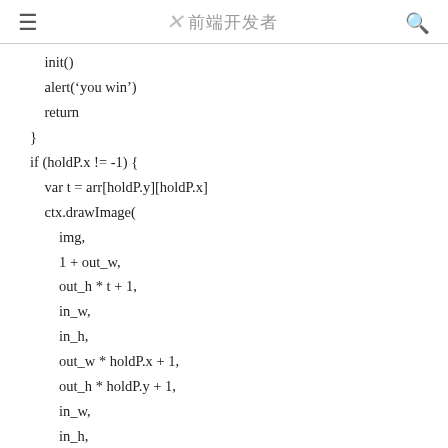≡  ✕ 前端开发者  🔍
init()
    alert('you win')
    return
}
if (holdP.x != -1) {
    var t = arr[holdP.y][holdP.x]
    ctx.drawImage(
        img,
        1 + out_w,
        out_h * t + 1,
        in_w,
        in_h,
        out_w * holdP.x + 1,
        out_h * holdP.y + 1,
        in_w,
        in_h,
    )